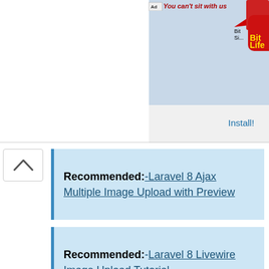[Figure (screenshot): Advertisement banner showing BitLife app ad with 'You can't sit with us' text and BitLife logo with Install button]
[Figure (screenshot): Collapse/chevron up button on left side]
Recommended:-Laravel 8 Ajax Multiple Image Upload with Preview
Recommended:-Laravel 8 Livewire Image Upload Tutorial
Recommended:-Laravel 8 DataTable Ajax
[Figure (screenshot): Advertisement showing Joseph & Feiss Boy's Black ... product for $69.99 with close and play icons]